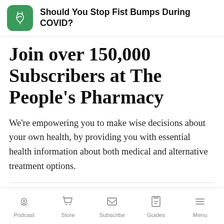Should You Stop Fist Bumps During COVID?
Join over 150,000 Subscribers at The People's Pharmacy
We're empowering you to make wise decisions about your own health, by providing you with essential health information about both medical and alternative treatment options.
Your e-mail address
Podcast  Store  Subscribe  Guides  Menu